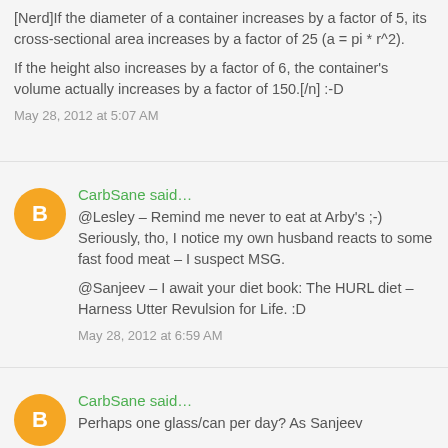[Nerd]If the diameter of a container increases by a factor of 5, its cross-sectional area increases by a factor of 25 (a = pi * r^2).
If the height also increases by a factor of 6, the container's volume actually increases by a factor of 150.[/n] :-D
May 28, 2012 at 5:07 AM
CarbSane said...
@Lesley – Remind me never to eat at Arby's ;-) Seriously, tho, I notice my own husband reacts to some fast food meat – I suspect MSG.
@Sanjeev – I await your diet book: The HURL diet – Harness Utter Revulsion for Life. :D
May 28, 2012 at 6:59 AM
CarbSane said...
Perhaps one glass/can per day? As Sanjeev